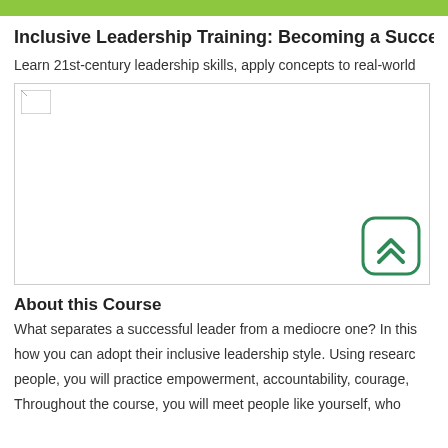Inclusive Leadership Training: Becoming a Successful Le...
Learn 21st-century leadership skills, apply concepts to real-world...
[Figure (photo): Course header image placeholder with a scroll-to-top button overlay (green rounded square with double chevron up arrow)]
About this Course
What separates a successful leader from a mediocre one? In this course, you will learn how you can adopt their inclusive leadership style. Using research-based approaches to people, you will practice empowerment, accountability, courage,
Throughout the course, you will meet people like yourself, who...